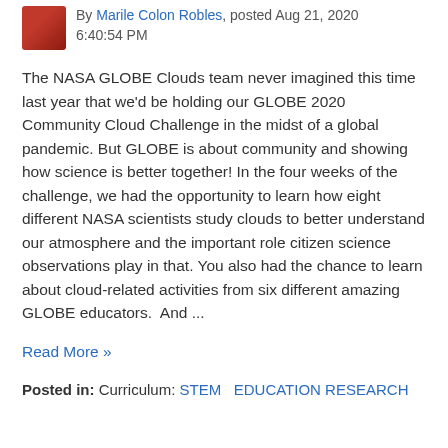By Marile Colon Robles, posted Aug 21, 2020 6:40:54 PM
The NASA GLOBE Clouds team never imagined this time last year that we'd be holding our GLOBE 2020 Community Cloud Challenge in the midst of a global pandemic. But GLOBE is about community and showing how science is better together! In the four weeks of the challenge, we had the opportunity to learn how eight different NASA scientists study clouds to better understand our atmosphere and the important role citizen science observations play in that. You also had the chance to learn about cloud-related activities from six different amazing GLOBE educators.  And ...
Read More »
Posted in: Curriculum: STEM   EDUCATION RESEARCH